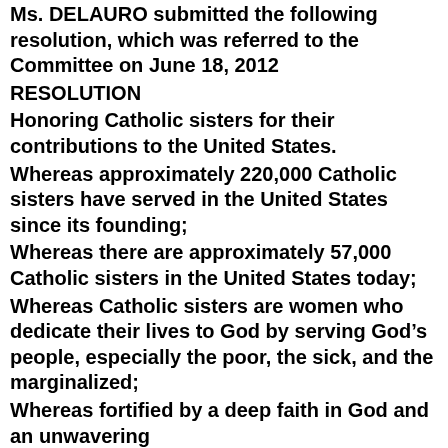Ms. DELAURO submitted the following resolution, which was referred to the Committee on June 18, 2012
RESOLUTION
Honoring Catholic sisters for their contributions to the United States.
Whereas approximately 220,000 Catholic sisters have served in the United States since its founding;
Whereas there are approximately 57,000 Catholic sisters in the United States today;
Whereas Catholic sisters are women who dedicate their lives to God by serving God’s people, especially the poor, the sick, and the marginalized;
Whereas fortified by a deep faith in God and an unwavering